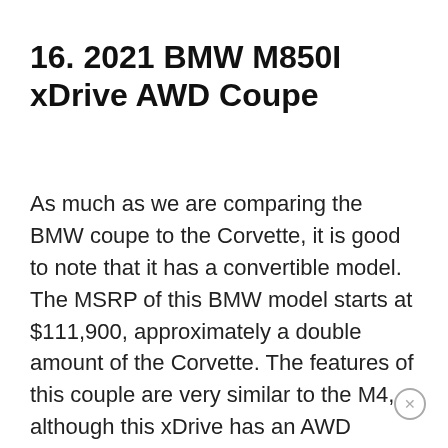16. 2021 BMW M850I xDrive AWD Coupe
As much as we are comparing the BMW coupe to the Corvette, it is good to note that it has a convertible model. The MSRP of this BMW model starts at $111,900, approximately a double amount of the Corvette. The features of this couple are very similar to the M4, although this xDrive has an AWD capability. According to Truecar, the